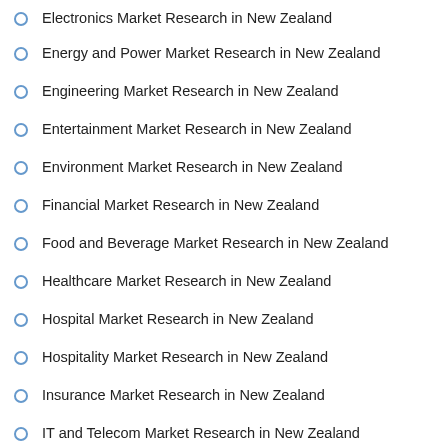Electronics Market Research in New Zealand
Energy and Power Market Research in New Zealand
Engineering Market Research in New Zealand
Entertainment Market Research in New Zealand
Environment Market Research in New Zealand
Financial Market Research in New Zealand
Food and Beverage Market Research in New Zealand
Healthcare Market Research in New Zealand
Hospital Market Research in New Zealand
Hospitality Market Research in New Zealand
Insurance Market Research in New Zealand
IT and Telecom Market Research in New Zealand
Life Science Market Research in New Zealand
Media and Entertainment Market Research in New Zealand
Medical Device Market Research in New Zealand
Metal and Mining Market Research in New Zealand